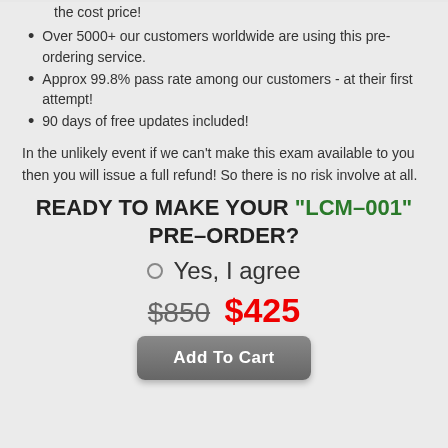the cost price!
Over 5000+ our customers worldwide are using this pre-ordering service.
Approx 99.8% pass rate among our customers - at their first attempt!
90 days of free updates included!
In the unlikely event if we can't make this exam available to you then you will issue a full refund! So there is no risk involve at all.
READY TO MAKE YOUR "LCM-001" PRE-ORDER?
○ Yes, I agree
$850  $425
Add To Cart